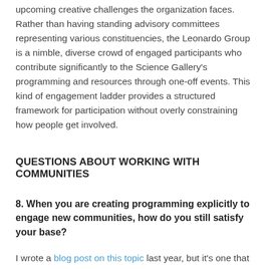upcoming creative challenges the organization faces. Rather than having standing advisory committees representing various constituencies, the Leonardo Group is a nimble, diverse crowd of engaged participants who contribute significantly to the Science Gallery's programming and resources through one-off events. This kind of engagement ladder provides a structured framework for participation without overly constraining how people get involved.
QUESTIONS ABOUT WORKING WITH COMMUNITIES
8. When you are creating programming explicitly to engage new communities, how do you still satisfy your base?
I wrote a blog post on this topic last year, but it's one that still comes up frequently in discussions with colleagues. I've come to feel that the "parallel to pipeline" strategy is a solid approach. You start by offering a custom, distinct program for new audiences and then find ways to integrate what works for them into your core offerings. The important part of